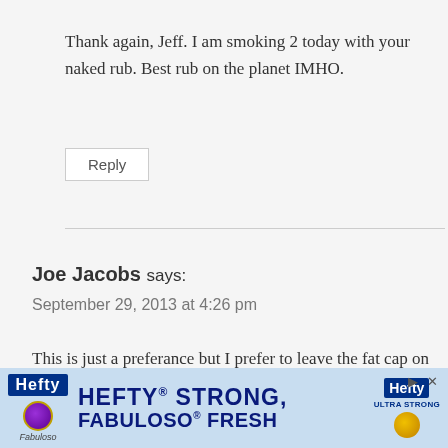Thank again, Jeff. I am smoking 2 today with your naked rub. Best rub on the planet IMHO.
Reply
Joe Jacobs says:
September 29, 2013 at 4:26 pm
This is just a preferance but I prefer to leave the fat cap on and when smoking, and I slather the meat with yellow mustard this keeps the moisture in, holds the rub on and you cannot tase the mustard after...is ren...can
[Figure (other): Hefty Strong, Fabuloso Fresh advertisement banner at the bottom of the page]